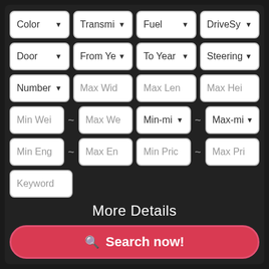[Figure (screenshot): A dark-themed car search filter UI with dropdown menus for Color, Transmission, Fuel, DriveSystem, Door, From Year, To Year, Steering, Number, Max Width, Max Length, Max Height, Min Weight, Max Weight, Min-miles, Max-miles, Min Engine, Max Engine, Min Price, Max Price, Keyword fields, a More Details label, and a Search now! button.]